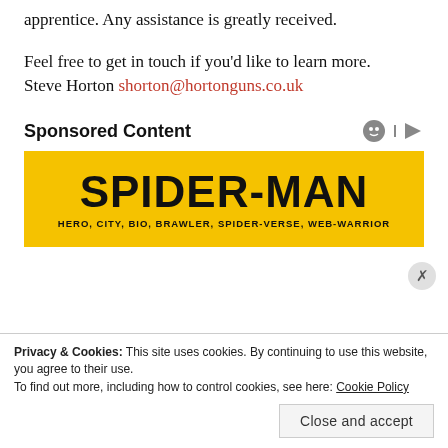apprentice. Any assistance is greatly received.
Feel free to get in touch if you’d like to learn more.
Steve Horton shorton@hortonguns.co.uk
Sponsored Content
[Figure (illustration): Spider-Man video game advertisement banner with yellow background, bold black text reading SPIDER-MAN and subtitle HERO, CITY, BIO, BRAWLER, SPIDER-VERSE, WEB-WARRIOR]
Privacy & Cookies: This site uses cookies. By continuing to use this website, you agree to their use.
To find out more, including how to control cookies, see here: Cookie Policy
Close and accept